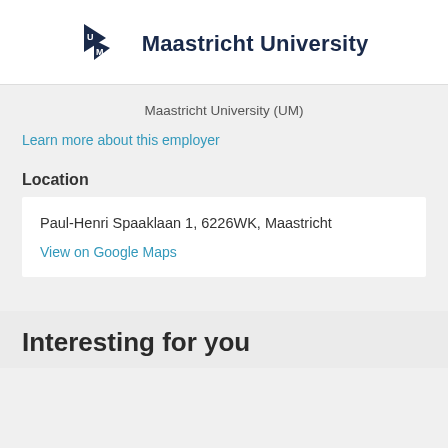[Figure (logo): Maastricht University logo with triangular UM monogram and university name]
Maastricht University (UM)
Learn more about this employer
Location
Paul-Henri Spaaklaan 1, 6226WK, Maastricht
View on Google Maps
Interesting for you